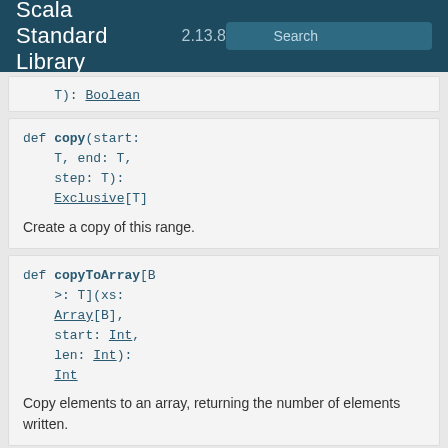Scala Standard Library 2.13.8 Search
T): Boolean
def copy(start: T, end: T, step: T): Exclusive[T]
Create a copy of this range.
def copyToArray[B >: T](xs: Array[B], start: Int, len: Int): Int
Copy elements to an array, returning the number of elements written.
def copyToArray[B >: T](xs: